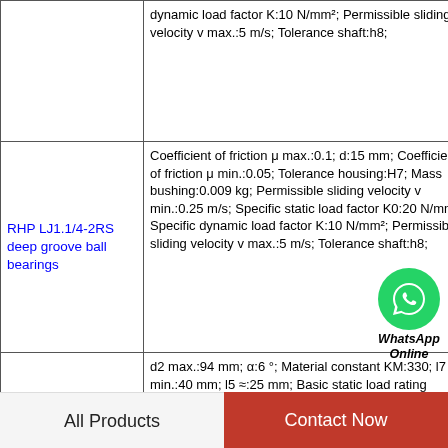| Product | Specifications |
| --- | --- |
|  | dynamic load factor K:10 N/mm²; Permissible sliding velocity v max.:5 m/s; Tolerance shaft:h8; |
| RHP LJ1.1/4-2RS deep groove ball bearings | Coefficient of friction μ max.:0.1; d:15 mm; Coefficient of friction μ min.:0.05; Tolerance housing:H7; Mass bushing:0.009 kg; Permissible sliding velocity v min.:0.25 m/s; Specific static load factor K0:20 N/mm²; Specific dynamic load factor K:10 N/mm²; Permissible sliding velocity v max.:5 m/s; Tolerance shaft:h8; |
| RHP LJ3.1/2 deep groove ball bearings | d2 max.:94 mm; α:6 °; Material constant KM:330; l7 min.:40 mm; l5 ≈:25 mm; Basic static load rating C0:166 kN; d4 ≈:58 mm; dk:53 mm; B:28 mm; r1 min.:0.6 mm; |
|  | C:49.213 mm; Da max.:221 mm; Ca ... |
WhatsApp Online
All Products | Contact Now